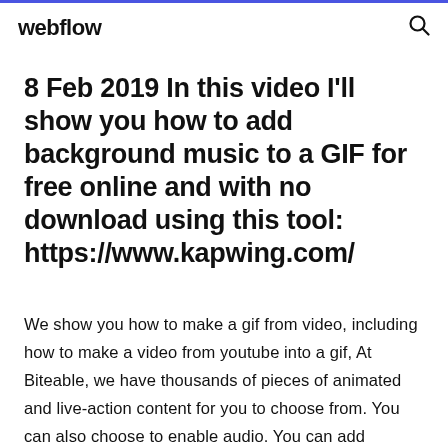webflow
8 Feb 2019 In this video I'll show you how to add background music to a GIF for free online and with no download using this tool: https://www.kapwing.com/
We show you how to make a gif from video, including how to make a video from youtube into a gif, At Biteable, we have thousands of pieces of animated and live-action content for you to choose from. You can also choose to enable audio. You can add images, animated